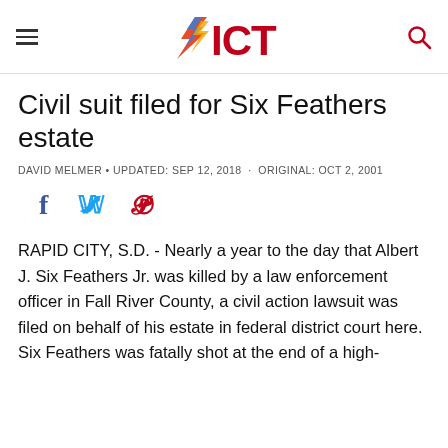ICT
Civil suit filed for Six Feathers estate
DAVID MELMER • UPDATED: SEP 12, 2018 · ORIGINAL: OCT 2, 2001
[Figure (other): Social media sharing icons: Facebook, Twitter, Pinterest]
RAPID CITY, S.D. - Nearly a year to the day that Albert J. Six Feathers Jr. was killed by a law enforcement officer in Fall River County, a civil action lawsuit was filed on behalf of his estate in federal district court here.
Six Feathers was fatally shot at the end of a high-